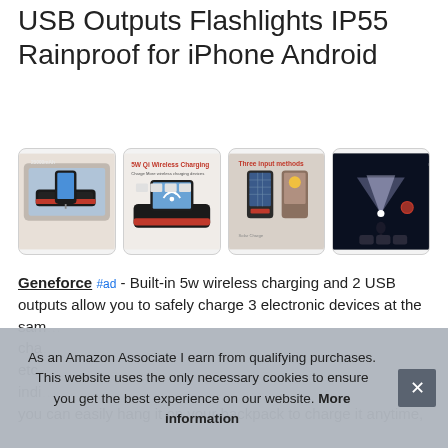USB Outputs Flashlights IP55 Rainproof for iPhone Android
#ad
[Figure (photo): Four product thumbnail images of a solar power bank: (1) device with cables charging phones showing 25000mAh, (2) 5W Qi Wireless Charging demo, (3) Three input methods including solar charge, (4) Super bright flashlight with beam range claim at night scene]
Geneforce #ad - Built-in 5w wireless charging and 2 USB outputs allow you to safely charge 3 electronic devices at the sam... cha... etc.... indi... you can easily hang it on your backpack to charge it anytime,
As an Amazon Associate I earn from qualifying purchases. This website uses the only necessary cookies to ensure you get the best experience on our website. More information